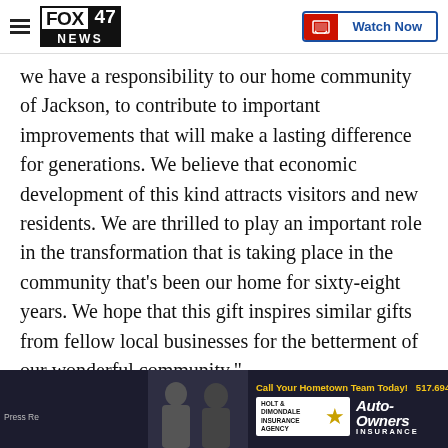FOX 47 NEWS — Watch Now
we have a responsibility to our home community of Jackson, to contribute to important improvements that will make a lasting difference for generations. We believe that economic development of this kind attracts visitors and new residents. We are thrilled to play an important role in the transformation that is taking place in the community that’s been our home for sixty-eight years. We hope that this gift inspires similar gifts from fellow local businesses for the betterment of our wonderful community.”
Source: Press Release
[Figure (screenshot): Auto-Owners Insurance advertisement banner with two people, Holt & Dimondale Insurance Agency logo, phone number 517.694.0149, and Call Your Hometown Team Today! text]